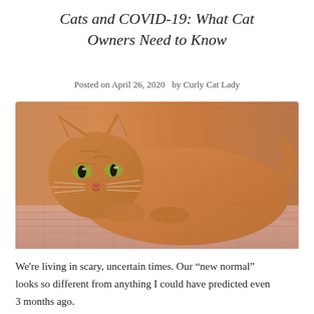Cats and COVID-19: What Cat Owners Need to Know
Posted on April 26, 2020   by Curly Cat Lady
[Figure (photo): An orange tabby cat lying on a pink knitted blanket, looking at the camera with sleepy eyes.]
We're living in scary, uncertain times. Our “new normal” looks so different from anything I could have predicted even 3 months ago.